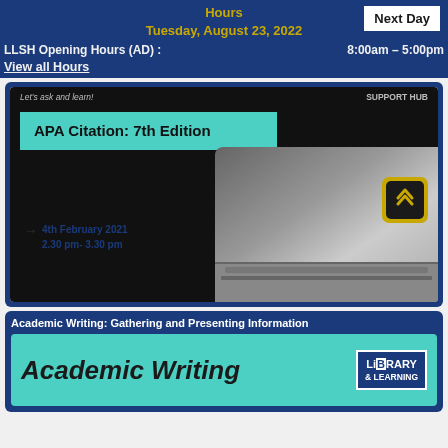Hours
Tuesday, August 23, 2022
Next Day
LLSH Opening Hours (AD) :    8:00am – 5:00pm
View all Hours
[Figure (screenshot): APA Citation: 7th Edition webinar promotional image showing laptop with teal banner text, date 4th February 2021, 2.30 pm - 3.30 pm]
Academic Writing: Gathering and Presenting Information
[Figure (screenshot): Academic Writing promotional banner with teal background and Library & Learning logo]